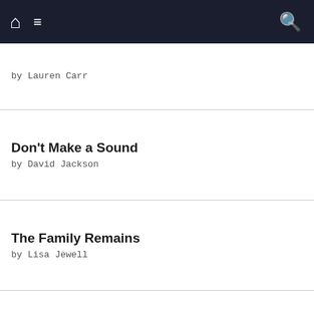Navigation bar with home, menu, and search icons
by Lauren Carr
Don't Make a Sound by David Jackson
The Family Remains by Lisa Jewell
The Witch's Tree by Elena Collins
[Figure (screenshot): Goodreads widget logo button with rounded rectangle border]
omotions Autumn ountdown eck Valley ook Tours okish blog hop ook Partners In ime PR Bridging e Gap Tours hristmas ountdown nticing urney Book romotions rever Write PR Great Escapes